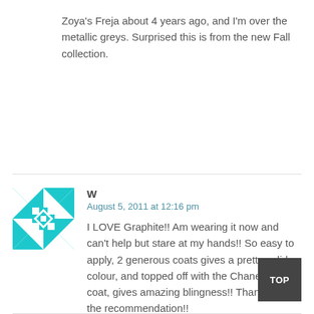Zoya's Freja about 4 years ago, and I'm over the metallic greys. Surprised this is from the new Fall collection.
[Figure (illustration): Cyan and white geometric quilt-pattern avatar icon]
W
August 5, 2011 at 12:16 pm
I LOVE Graphite!! Am wearing it now and can't help but stare at my hands!! So easy to apply, 2 generous coats gives a pretty solid colour, and topped off with the Chanel top coat, gives amazing blingness!! Thanks for the recommendation!!